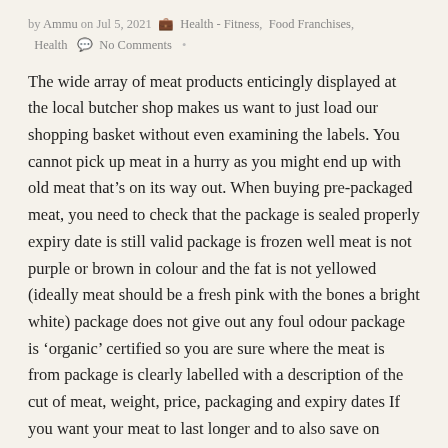by Ammu on Jul 5, 2021 💼 Health - Fitness, Food Franchises, Health 💬 No Comments •
The wide array of meat products enticingly displayed at the local butcher shop makes us want to just load our shopping basket without even examining the labels. You cannot pick up meat in a hurry as you might end up with old meat that’s on its way out. When buying pre-packaged meat, you need to check that the package is sealed properly expiry date is still valid package is frozen well meat is not purple or brown in colour and the fat is not yellowed (ideally meat should be a fresh pink with the bones a bright white) package does not give out any foul odour package is ‘organic’ certified so you are sure where the meat is from package is clearly labelled with a description of the cut of meat, weight, price, packaging and expiry dates If you want your meat to last longer and to also save on money, buy a roast instead of strip steaks. Slice your meat only